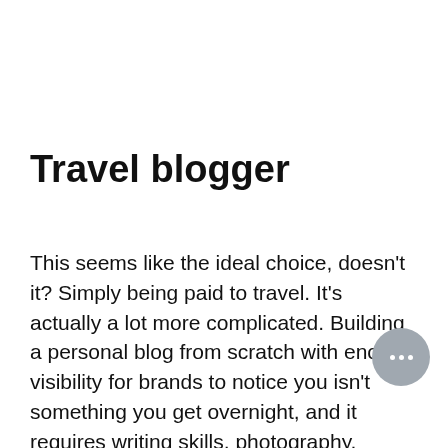Travel blogger
This seems like the ideal choice, doesn't it? Simply being paid to travel. It's actually a lot more complicated. Building a personal blog from scratch with enough visibility for brands to notice you isn't something you get overnight, and it requires writing skills, photography, video, social networking... Creating engaging content can take hours and hours of work. But it's possible to do it with passion and effort. Another good way to get started in that world